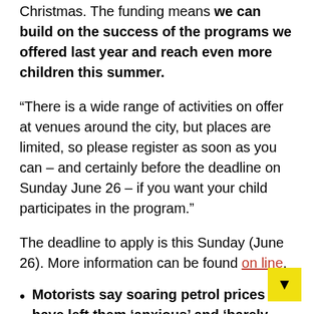Christmas. The funding means we can build on the success of the programs we offered last year and reach even more children this summer.
“There is a wide range of activities on offer at venues around the city, but places are limited, so please register as soon as you can – and certainly before the deadline on Sunday June 26 – if you want your child participates in the program.”
The deadline to apply is this Sunday (June 26). More information can be found on line.
Motorists say soaring petrol prices have left them ‘anxious’ and ‘barely able to leave the house’
When is it too hot to walk your dog?